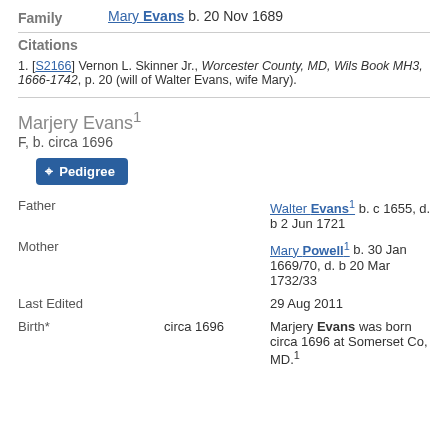Family   Mary Evans b. 20 Nov 1689
Citations
1. [S2166] Vernon L. Skinner Jr., Worcester County, MD, Wils Book MH3, 1666-1742, p. 20 (will of Walter Evans, wife Mary).
Marjery Evans¹
F, b. circa 1696
Pedigree
Father   Walter Evans¹ b. c 1655, d. b 2 Jun 1721
Mother   Mary Powell¹ b. 30 Jan 1669/70, d. b 20 Mar 1732/33
Last Edited   29 Aug 2011
Birth*   circa 1696   Marjery Evans was born circa 1696 at Somerset Co, MD.¹